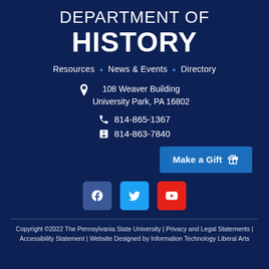DEPARTMENT OF HISTORY
Resources • News & Events • Directory
108 Weaver Building
University Park, PA 16802
814-865-1367
814-863-7840
Make a Gift
[Figure (other): Social media icons: Facebook, Twitter, YouTube]
Copyright ©2022 The Pennsylvania State University | Privacy and Legal Statements | Accessibility Statement | Website Designed by Information Technology Liberal Arts